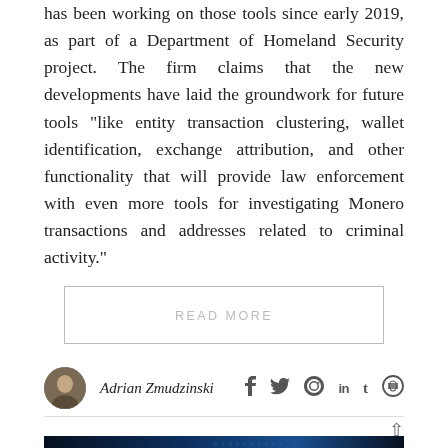has been working on those tools since early 2019, as part of a Department of Homeland Security project. The firm claims that the new developments have laid the groundwork for future tools “like entity transaction clustering, wallet identification, exchange attribution, and other functionality that will provide law enforcement with even more tools for investigating Monero transactions and addresses related to criminal activity.”
READ MORE
Adrian Zmudzinski
[Figure (photo): Dark cybersecurity themed image showing a hooded figure with blue binary code digital rain background]